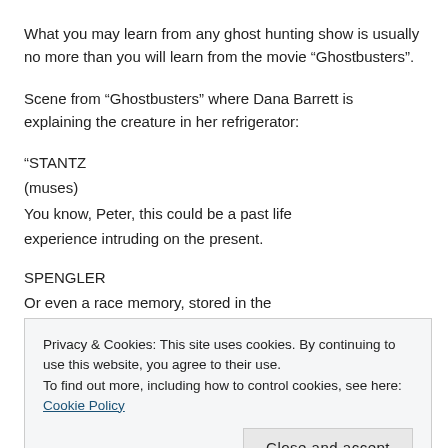What you may learn from any ghost hunting show is usually no more than you will learn from the movie “Ghostbusters”.
Scene from “Ghostbusters” where Dana Barrett is explaining the creature in her refrigerator:
“STANTZ
(muses)
You know, Peter, this could be a past life experience intruding on the present.
SPENGLER
Or even a race memory, stored in the
Privacy & Cookies: This site uses cookies. By continuing to use this website, you agree to their use.
To find out more, including how to control cookies, see here: Cookie Policy
Close and accept
unconscious as coined by Dr. Carl Jung is less of a likely scenario